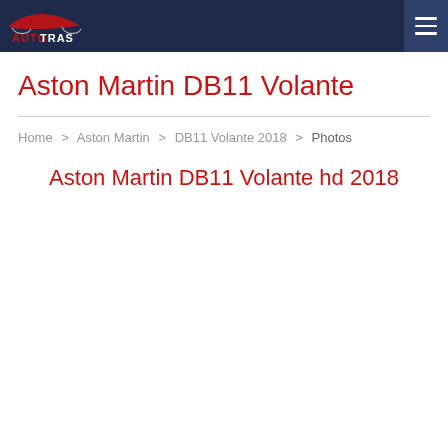AUTOTRAS
Aston Martin DB11 Volante
Home > Aston Martin > DB11 Volante 2018 > Photos
Aston Martin DB11 Volante hd 2018